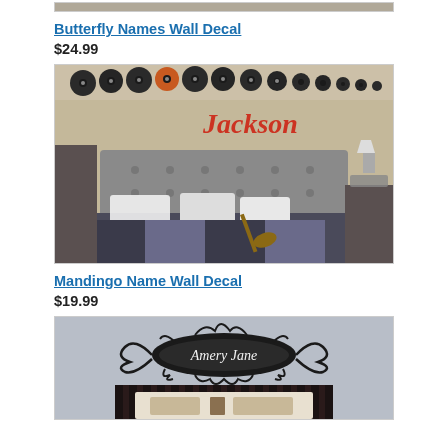[Figure (photo): Cropped top portion of a product image, cut off at page top]
Butterfly Names Wall Decal
$24.99
[Figure (photo): Bedroom with vinyl records displayed along the top of the wall, red 'Jackson' name wall decal above a gray tufted headboard, dark patterned bedding with pillows]
Mandingo Name Wall Decal
$19.99
[Figure (photo): Nursery room with 'Amery Jane' name in an ornate black flourish/swirl frame decal on a light blue-gray wall, dark wood crib with white and brown bedding below]